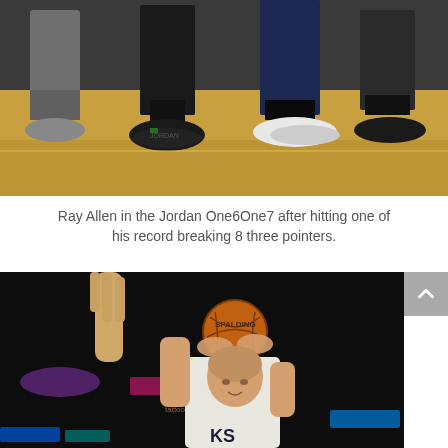[Figure (photo): Close-up photo of NBA players' feet and shoes on a basketball court sideline, showing various sneakers including Jordan brand shoes on a hardwood floor.]
Ray Allen in the Jordan One6One7 after hitting one of his record breaking 8 three pointers.
[Figure (photo): NBA basketball player in white Lakers jersey shooting a basketball during a game, with an opponent's hand visible attempting to block. The arena background is dark with colored lights.]